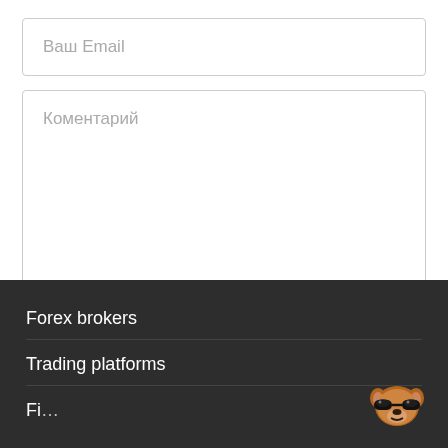Ваш Email
Коментарий
Post Comment
Forex brokers
Trading platforms
Fi…